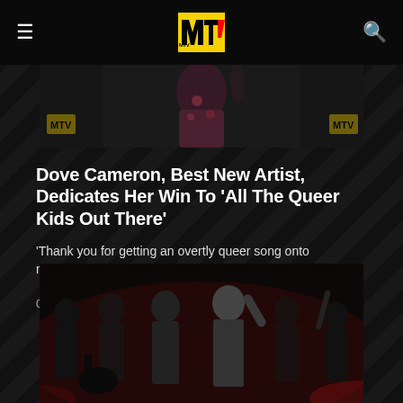MTV
[Figure (photo): Top portion of a photo showing a person in a decorative dress at what appears to be an MTV event, with MTV logos visible in the background]
Dove Cameron, Best New Artist, Dedicates Her Win To 'All The Queer Kids Out There'
'Thank you for getting an overtly queer song onto mainstream radio'
08/28/2022
[Figure (photo): Concert/performance photo showing multiple performers on stage in dark lighting with red accents, dancers in black outfits]